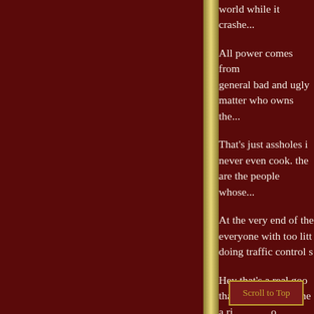world while it crashes...
All power comes from... general bad and ugly... matter who owns the...
That's just assholes i... never even cook. the... are the people whose...
At the very end of the... everyone with too litt... doing traffic control s...
Hey that's a real goo... that they miss the me... a ri... o taking words bec...